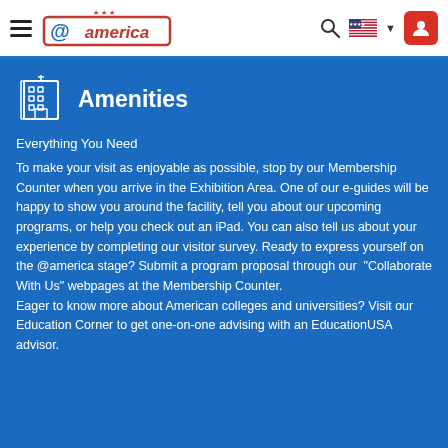@america — navigation bar with hamburger menu, logo, search, flag, user icon
Amenities
Everything You Need
To make your visit as enjoyable as possible, stop by our Membership Counter when you arrive in the Exhibition Area. One of our e-guides will be happy to show you around the facility, tell you about our upcoming programs, or help you check out an iPad. You can also tell us about your experience by completing our visitor survey. Ready to express yourself on the @america stage? Submit a program proposal through our "Collaborate With Us" webpages at the Membership Counter.
Eager to know more about American colleges and universities? Visit our Education Corner to get one-on-one advising with an EducationUSA advisor.